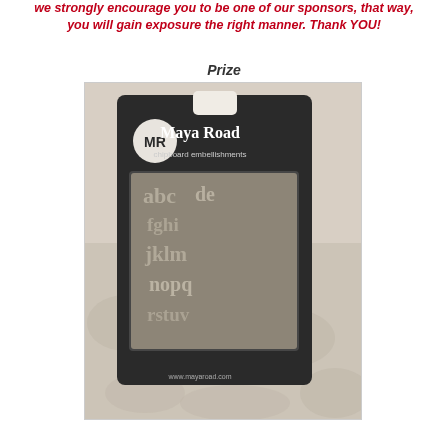we strongly encourage you to be one of our sponsors, that way, you will gain exposure the right manner. Thank YOU!
Prize
[Figure (photo): A product photo of a Maya Road brand craft supply package containing small chipboard alphabet letters, placed on a textured lace or burlap surface. The packaging is dark with the Maya Road logo and branding visible.]